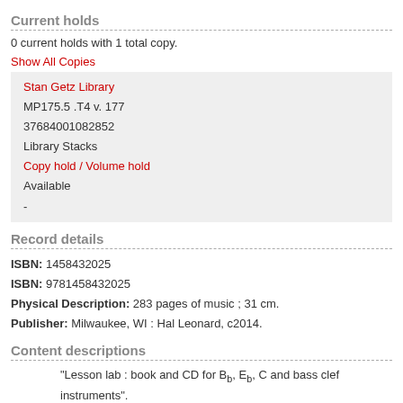Current holds
0 current holds with 1 total copy.
Show All Copies
| Stan Getz Library |
| MP175.5 .T4 v. 177 |
| 37684001082852 |
| Library Stacks |
| Copy hold / Volume hold |
| Available |
| - |
Record details
ISBN: 1458432025
ISBN: 9781458432025
Physical Description: 283 pages of music ; 31 cm.
Publisher: Milwaukee, WI : Hal Leonard, c2014.
Content descriptions
"Lesson lab : book and CD for Bb, Eb, C and bass clef instruments".